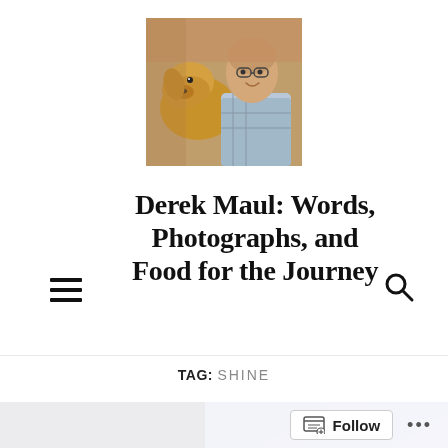[Figure (photo): Profile photo of a man with glasses smiling beside a golden retriever dog, outdoors with brick background]
Derek Maul: Words, Photographs, and Food for the Journey
TAG: SHINE
[Figure (photo): Stage performance photo with dancers against a purple/blue background, holding arched floral props with red flowers]
Follow ...